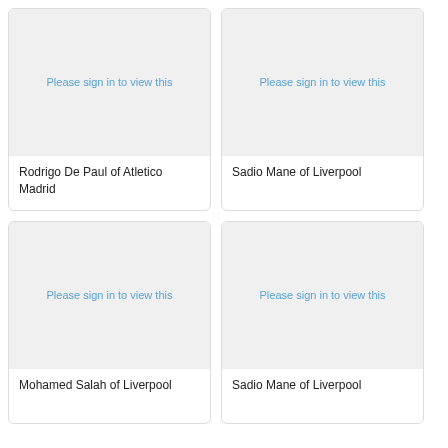[Figure (photo): Placeholder image with 'Please sign in to view this' text for Rodrigo De Paul of Atletico Madrid]
Rodrigo De Paul of Atletico Madrid
[Figure (photo): Placeholder image with 'Please sign in to view this' text for Sadio Mane of Liverpool]
Sadio Mane of Liverpool
[Figure (photo): Placeholder image with 'Please sign in to view this' text for Mohamed Salah of Liverpool]
Mohamed Salah of Liverpool
[Figure (photo): Placeholder image with 'Please sign in to view this' text for Sadio Mane of Liverpool]
Sadio Mane of Liverpool